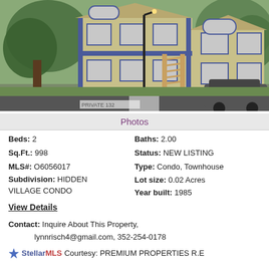[Figure (photo): Exterior photo of a two-story condominium building with blue trim, arched windows, external staircase, a street lamp, trees, and a dark SUV parked in the lot. Text overlay reads 'PRIVATE 132']
Photos
Beds: 2
Baths: 2.00
Sq.Ft.: 998
Status: NEW LISTING
MLS#: O6056017
Type: Condo, Townhouse
Subdivision: HIDDEN VILLAGE CONDO
Lot size: 0.02 Acres
Year built: 1985
View Details
Contact: Inquire About This Property, lynnrisch4@gmail.com, 352-254-0178
StellarMLS Courtesy: PREMIUM PROPERTIES R.E